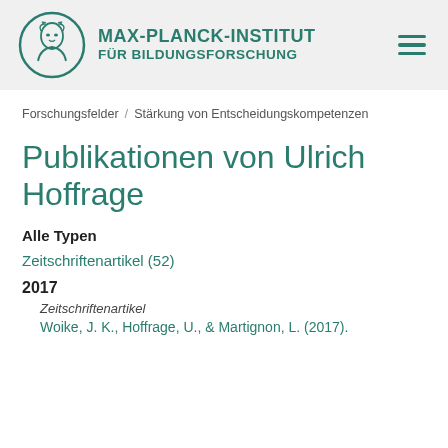MAX-PLANCK-INSTITUT FÜR BILDUNGSFORSCHUNG
Forschungsfelder / Stärkung von Entscheidungskompetenzen
Publikationen von Ulrich Hoffrage
Alle Typen
Zeitschriftenartikel (52)
2017
Zeitschriftenartikel
Woike, J. K., Hoffrage, U., & Martignon, L. (2017).